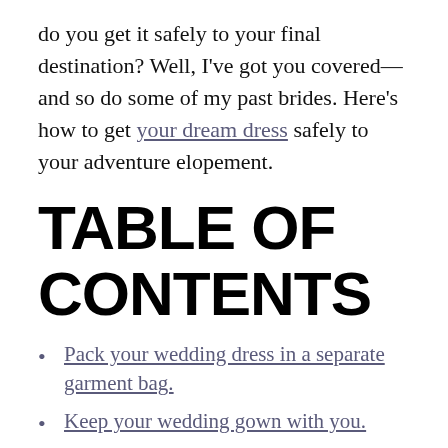do you get it safely to your final destination? Well, I've got you covered—and so do some of my past brides. Here's how to get your dream dress safely to your adventure elopement.
TABLE OF CONTENTS
Pack your wedding dress in a separate garment bag.
Keep your wedding gown with you.
Ask your airline for help.